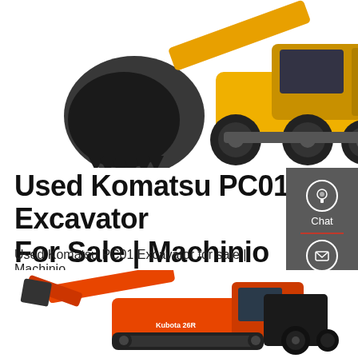[Figure (photo): Yellow Komatsu wheeled excavator with black bucket, viewed from front-left, white background]
Used Komatsu PC01 Excavator For Sale | Machinio
Used Komatsu PC01 Excavator for sale | Machinio
Get a Quote
[Figure (photo): Orange Kubota 26R compact excavator/backhoe loader, viewed from right side, white background]